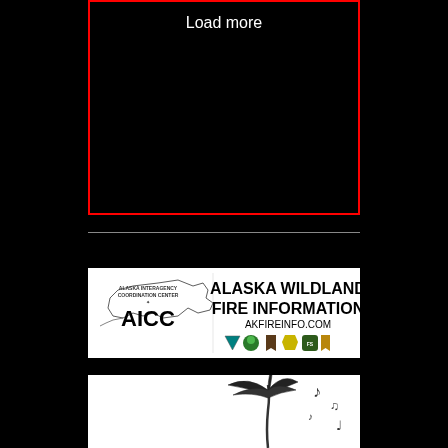Load more
[Figure (logo): Alaska Wildland Fire Information banner with AICC logo, Alaska map outline, agency shield icons, and text AKFIREINFO.COM]
[Figure (illustration): Partial banner showing palm tree silhouette and musical notes on white background]